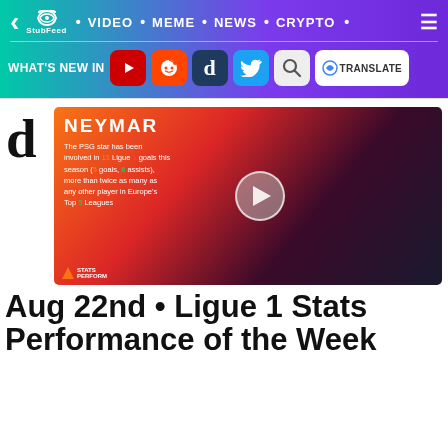StubFeed · VIDEO · MEME · NEWS · CRYPTO
WHAT'S NEW IN [YouTube] [Reddit] [Digg] [Twitter] [Search] [G TRANSLATE]
[Figure (screenshot): Video thumbnail featuring Neymar PSG stats. Text reads: NEYMAR - The PSG star has been involved in 11 Ligue 1 goals this season (5 goals, 6 assists), more than twice as many as any other player in Europe's Top 5 Leagues. Stats Perform logo visible.]
Aug 22nd • Ligue 1 Stats Performance of the Week